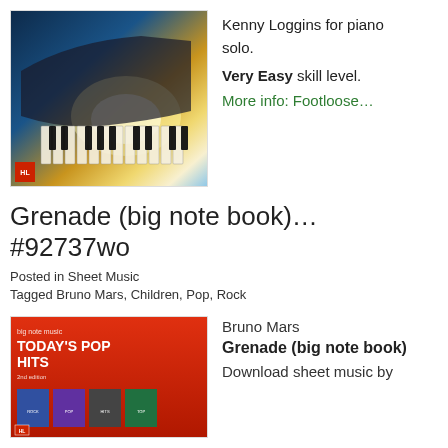[Figure (photo): Sheet music book cover showing a grand piano with dramatic blue and golden lighting]
Kenny Loggins for piano solo.
Very Easy skill level.
More info: Footloose…
Grenade (big note book)… #92737wo
Posted in Sheet Music
Tagged Bruno Mars, Children, Pop, Rock
[Figure (photo): Today's Pop Hits sheet music book cover with red background showing multiple smaller book covers]
Bruno Mars
Grenade (big note book)
Download sheet music by